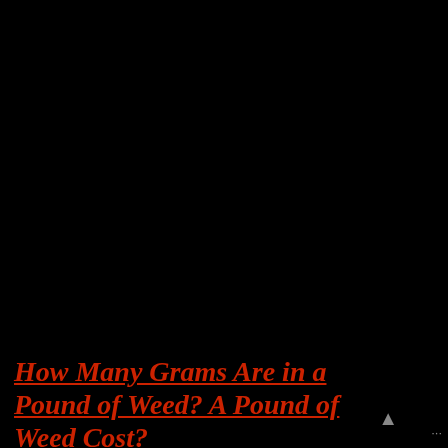We are using cookies to give you the best experience on our website.
You can find out more about which cookies we are using or switch them off in settings.
Accept
[Figure (photo): Black rectangular image area, likely a dark banner or header image for an article about cannabis]
[Figure (other): Social media share buttons sidebar: Facebook (blue circle), Twitter (light blue circle), LinkedIn (blue circle), Pinterest (red circle), Reddit (orange circle), WhatsApp (green circle), Email (gold circle)]
How Many Grams Are in a Pound of Weed? A Pound of Weed Cost?